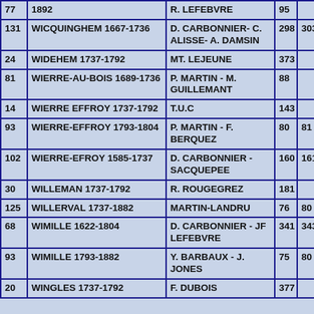| # | Place / Period | Name(s) | P1 | P2 |
| --- | --- | --- | --- | --- |
| 77 | 1892 | R. LEFEBVRE | 95 |  |
| 131 | WICQUINGHEM 1667-1736 | D. CARBONNIER- C. ALISSE- A. DAMSIN | 298 | 303 |
| 24 | WIDEHEM 1737-1792 | MT. LEJEUNE | 373 |  |
| 81 | WIERRE-AU-BOIS 1689-1736 | P. MARTIN - M. GUILLEMANT | 88 |  |
| 14 | WIERRE EFFROY 1737-1792 | T.U.C | 143 |  |
| 93 | WIERRE-EFFROY 1793-1804 | P. MARTIN - F. BERQUEZ | 80 | 81 |
| 102 | WIERRE-EFROY 1585-1737 | D. CARBONNIER - SACQUEPEE | 160 | 161 |
| 30 | WILLEMAN 1737-1792 | R. ROUGEGREZ | 181 |  |
| 125 | WILLERVAL 1737-1882 | MARTIN-LANDRU | 76 | 80 |
| 68 | WIMILLE 1622-1804 | D. CARBONNIER - JF LEFEBVRE | 341 | 343 |
| 93 | WIMILLE 1793-1882 | Y. BARBAUX - J. JONES | 75 | 80 |
| 20 | WINGLES 1737-1792 | F. DUBOIS | 377 |  |